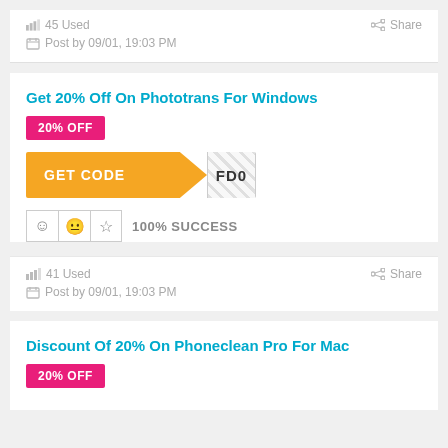45 Used   Share   Post by 09/01, 19:03 PM
Get 20% Off On Phototrans For Windows
20% OFF
[Figure (other): GET CODE button with hatched code area showing 'FD0']
100% SUCCESS
41 Used   Share   Post by 09/01, 19:03 PM
Discount Of 20% On Phoneclean Pro For Mac
20% OFF